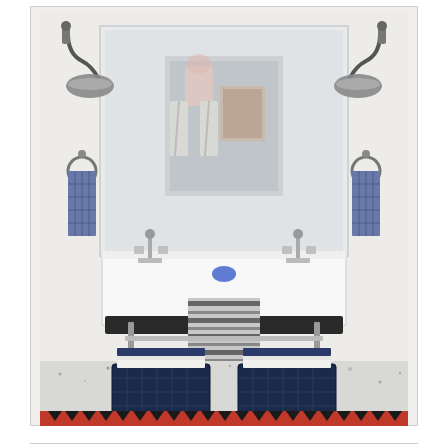[Figure (photo): Interior bathroom photo showing a white wall-mounted double trough sink with chrome cross-handle faucets on both sides. Above the sink is a large frameless mirror. On either side of the mirror are industrial-style gooseneck wall sconces with dark shades. Towel rings with blue/navy checkered hand towels are mounted on each side wall. A striped gray and white Turkish towel hangs over the front of the sink. On the sink basin sits a small blue item. Below the sink on the floor are two navy wire baskets filled with folded white and navy towels. The floor appears to be terrazzo or speckled tile. In the foreground is a colorful geometric patterned rug in red, black, and white.]